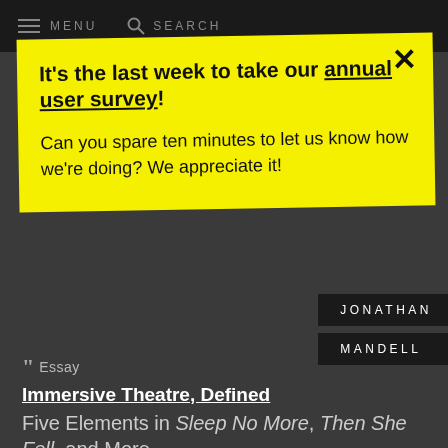MENU   SEARCH
It's the last week to take our annual user survey!

Can you spare ten minutes to let us know how we're doing? We appreciate it!
JONATHAN
MANDELL
Essay
Immersive Theatre, Defined
Five Elements in Sleep No More, Then She Fell, and More